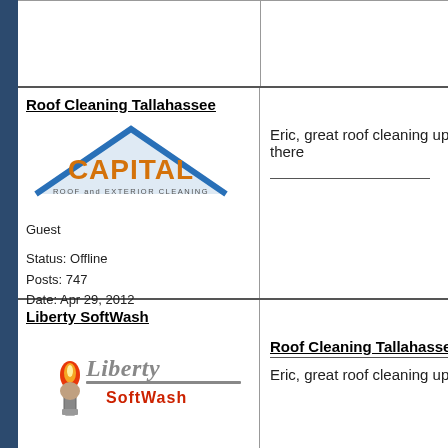Roof Cleaning Tallahassee
[Figure (logo): Capital Roof and Exterior Cleaning logo with blue house roof outline and orange CAPITAL text]
Guest
Status: Offline
Posts: 747
Date: Apr 29, 2012
Eric, great roof cleaning up there
Liberty SoftWash
[Figure (logo): Liberty SoftWash logo with torch flame and metallic liberty text]
Roof Cleaning Tallahasse
Eric, great roof cleaning up